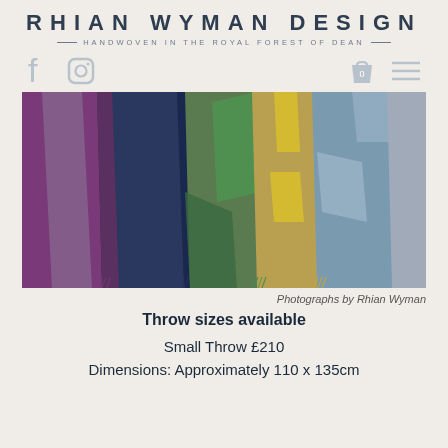RHIAN WYMAN DESIGN — HANDWOVEN IN THE ROYAL FOREST OF DEAN —
[Figure (photo): Colorful handwoven throws hanging side by side — purple/grey plaid, dark navy, green striped, yellow/gold, and blue-grey textured throws with fringe edges]
Photographs by Rhian Wyman
Throw sizes available
Small Throw £210
Dimensions: Approximately 110 x 135cm